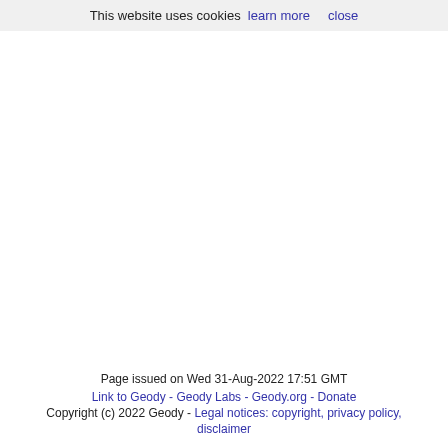This website uses cookies  learn more  close
Page issued on Wed 31-Aug-2022 17:51 GMT
Link to Geody - Geody Labs - Geody.org - Donate
Copyright (c) 2022 Geody - Legal notices: copyright, privacy policy, disclaimer